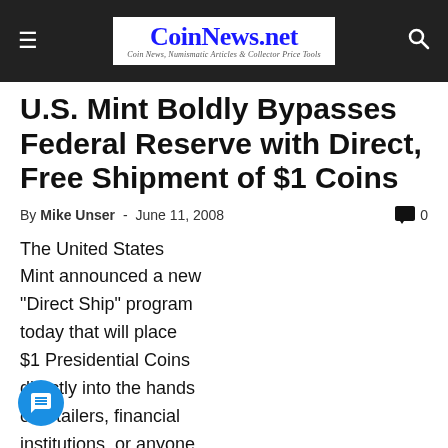CoinNews.net — Coin News, Numismatic Articles & Collector Price Tools
U.S. Mint Boldly Bypasses Federal Reserve with Direct, Free Shipment of $1 Coins
By Mike Unser - June 11, 2008  0
The United States Mint announced a new "Direct Ship" program today that will place $1 Presidential Coins directly into the hands of retailers, financial institutions, or anyone interested in buying dollar coins. Even better, orders may be placed at face value — no shipping costs — and in smaller